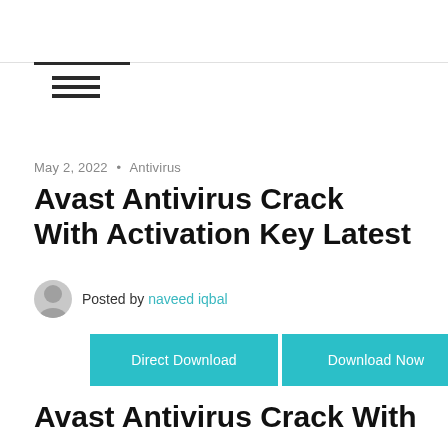May 2, 2022 • Antivirus
Avast Antivirus Crack With Activation Key Latest
Posted by naveed iqbal
[Figure (other): Two teal download buttons: 'Direct Download' and 'Download Now']
Avast Antivirus Crack With Activation Key Latest